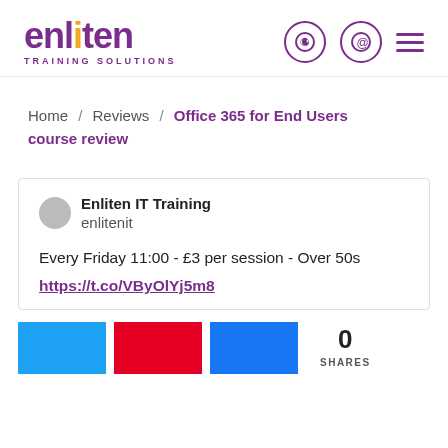[Figure (logo): Enliten Training Solutions logo — purple wordmark with orange dot on the i, and 'TRAINING SOLUTIONS' subtitle]
Home / Reviews / Office 365 for End Users course review
Enliten IT Training
enlitenIt

Every Friday 11:00 - £3 per session - Over 50s
https://t.co/VByOlYj5m8
[Figure (infographic): Three social share buttons (blue Twitter, red Pinterest, dark blue Facebook) and a share count showing 0 SHARES]